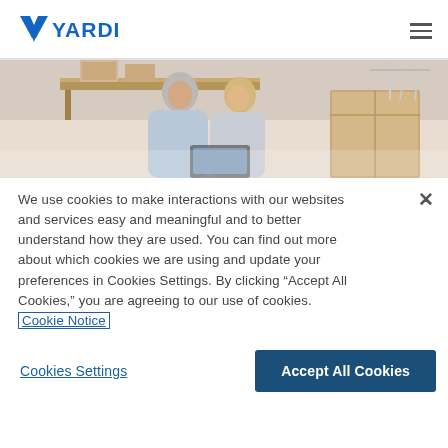[Figure (logo): Yardi logo with blue checkmark/arrow icon and blue text 'YARDI']
[Figure (photo): A smiling middle-aged couple looking at a tablet or laptop, surrounded by moving boxes in a bright room with shelves]
We use cookies to make interactions with our websites and services easy and meaningful and to better understand how they are used. You can find out more about which cookies we are using and update your preferences in Cookies Settings. By clicking "Accept All Cookies," you are agreeing to our use of cookies. Cookie Notice
Cookies Settings
Accept All Cookies